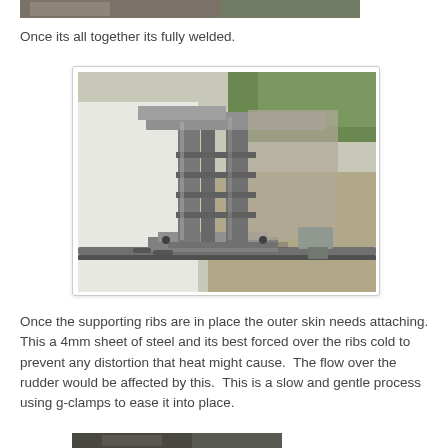[Figure (photo): Top portion of a photo showing a welded metal structure, cropped at top of page]
Once its all together its fully welded.
[Figure (photo): Photo of a welded steel rudder structure with supporting ribs, sitting on a rail or track outdoors, showing the metal framework before outer skin is attached]
Once the supporting ribs are in place the outer skin needs attaching.  This a 4mm sheet of steel and its best forced over the ribs cold to prevent any distortion that heat might cause.  The flow over the rudder would be affected by this.  This is a slow and gentle process using g-clamps to ease it into place.
[Figure (photo): Bottom portion of another photo, partially visible at bottom of page]